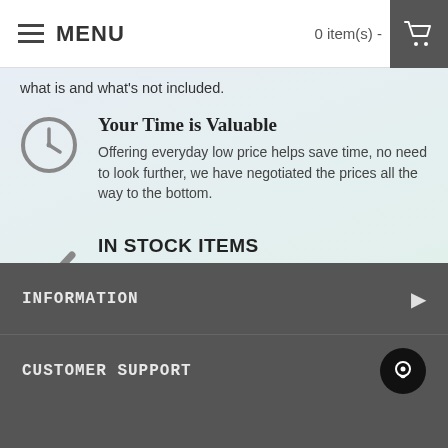MENU  0 item(s) -
what is and what's not included.
Your Time is Valuable
Offering everyday low price helps save time, no need to look further, we have negotiated the prices all the way to the bottom.
IN STOCK ITEMS
items showing in-stock can be picked up in 2-48 hours. please wait for our confimation email.
INFORMATION
CUSTOMER SUPPORT